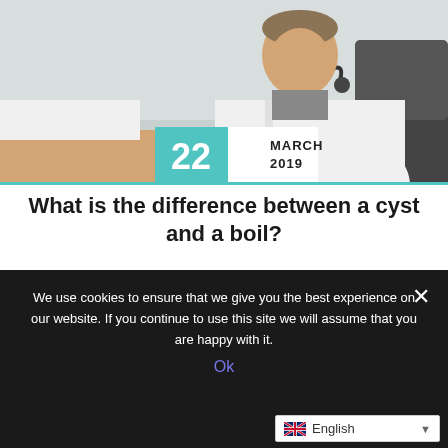[Figure (photo): A doctor in a white coat with a stethoscope examining a patient's arm/hand, shown from the side. Medical examination scene with date badge overlay showing 22 March 2019.]
What is the difference between a cyst and a boil?
Cysts and boils both cause lumps to
We use cookies to ensure that we give you the best experience on our website. If you continue to use this site we will assume that you are happy with it.
Ok
English